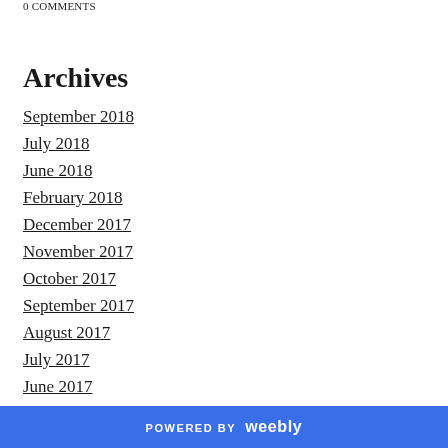0 COMMENTS
Archives
September 2018
July 2018
June 2018
February 2018
December 2017
November 2017
October 2017
September 2017
August 2017
July 2017
June 2017
May 2017
April 2017
POWERED BY weebly